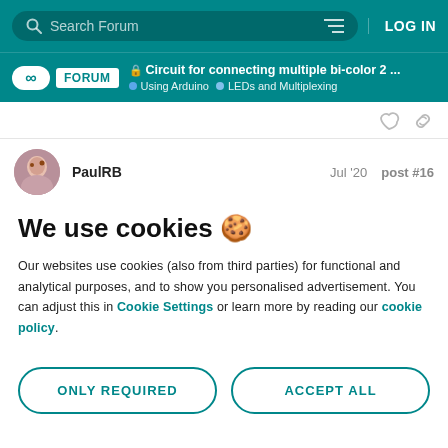Search Forum | LOG IN
Circuit for connecting multiple bi-color 2 ... | Using Arduino | LEDs and Multiplexing
PaulRB    Jul '20    post #16
We use cookies 🍪
Our websites use cookies (also from third parties) for functional and analytical purposes, and to show you personalised advertisement. You can adjust this in Cookie Settings or learn more by reading our cookie policy.
ONLY REQUIRED    ACCEPT ALL